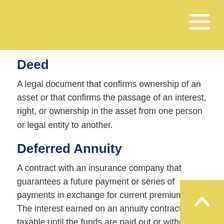Deed
A legal document that confirms ownership of an asset or that confirms the passage of an interest, right, or ownership in the asset from one person or legal entity to another.
Deferred Annuity
A contract with an insurance company that guarantees a future payment or series of payments in exchange for current premiums. The interest earned on an annuity contract is not taxable until the funds are paid out or withdrawn. The guarantees of an annuity contract depend on the issuing company's claims-paying ability. Annuities have fees and charges associated with the contract, and a surrender charge also may apply if the contract owner elects to give up the annuity before certain time period conditions are